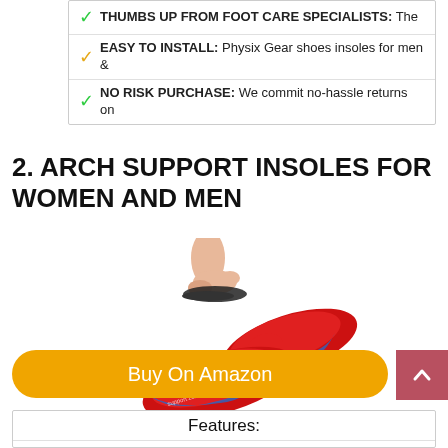✓ THUMBS UP FROM FOOT CARE SPECIALISTS: The
✓ EASY TO INSTALL: Physix Gear shoes insoles for men &
✓ NO RISK PURCHASE: We commit no-hassle returns on
2. ARCH SUPPORT INSOLES FOR WOMEN AND MEN
[Figure (photo): Product photo showing arch support insoles: a foot standing on a dark insole above, and two red insoles with blue trim below on a white background.]
Buy On Amazon
Features:
✓ ARCH SUPPORT & ORTHOTIC: Arch support and
✓ FOOT PAIN & PLANTAR FASCIITIS: Provides...